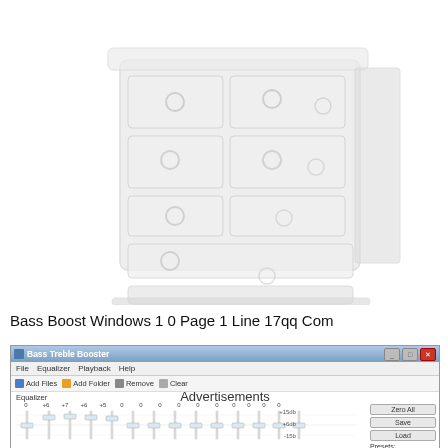[Figure (illustration): A white painted wooden chest of drawers (dresser) with multiple drawers and round knob handles, shown on a white background. The image is slightly blurred/faded.]
Bass Boost Windows 1 0 Page 1 Line 17qq Com
[Figure (screenshot): Screenshot of Bass Treble Booster application window showing equalizer sliders with values 0, +6, +7, +6, +5, 0, 0, 0, 0, 0, 0, 0, 0, 0, 0, and controls for Zero All, Save, Load, and Presets (BassBoost 2). Menu bar with File, Equalizer, Playback, Help. Toolbar with Add Files, Add Folder, Remove, Clear buttons. The word 'Advertisements' appears overlaid on the right side.]